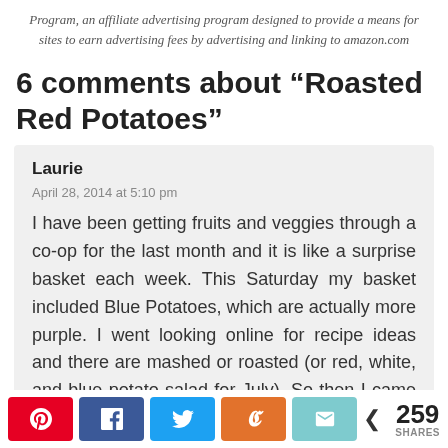Program, an affiliate advertising program designed to provide a means for sites to earn advertising fees by advertising and linking to amazon.com
6 comments about “Roasted Red Potatoes”
Laurie
April 28, 2014 at 5:10 pm
I have been getting fruits and veggies through a co-op for the last month and it is like a surprise basket each week. This Saturday my basket included Blue Potatoes, which are actually more purple. I went looking online for recipe ideas and there are mashed or roasted (or red, white, and blue potato salad for July). So then I came back to my favorite food blog of all to see what
259 SHARES